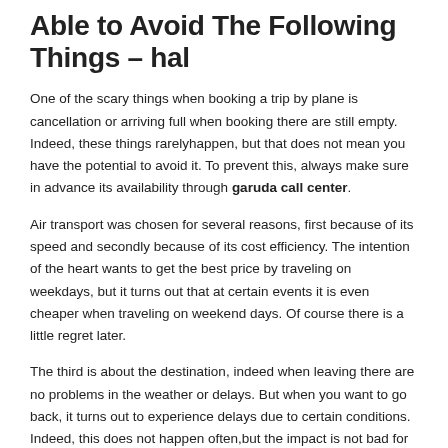Able to Avoid The Following Things – hal
One of the scary things when booking a trip by plane is cancellation or arriving full when booking there are still empty. Indeed, these things rarelyhappen, but that does not mean you have the potential to avoid it. To prevent this, always make sure in advance its availability through garuda call center.
Air transport was chosen for several reasons, first because of its speed and secondly because of its cost efficiency. The intention of the heart wants to get the best price by traveling on weekdays, but it turns out that at certain events it is even cheaper when traveling on weekend days. Of course there is a little regret later.
The third is about the destination, indeed when leaving there are no problems in the weather or delays. But when you want to go back, it turns out to experience delays due to certain conditions. Indeed, this does not happen often,but the impact is not bad for you, especially in spending. It can – it can swell a little.